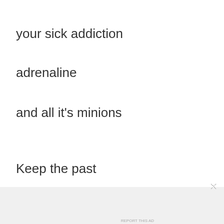your sick addiction
adrenaline
and all it’s minions
Keep the past
in God’s sweet hands
[Figure (other): WooCommerce advertisement banner: 'How to start selling subscriptions online']